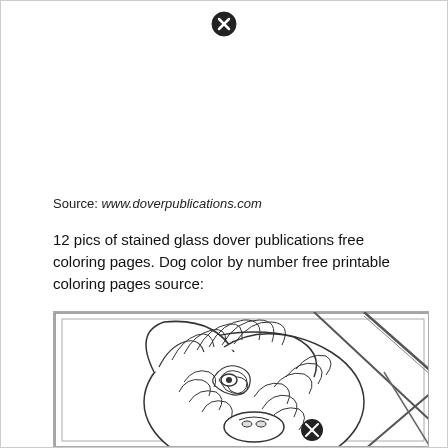[Figure (other): Close/cancel icon (circle with X) at top center of page]
Source: www.doverpublications.com
12 pics of stained glass dover publications free coloring pages. Dog color by number free printable coloring pages source:
[Figure (illustration): Coloring page illustration of a dog with decorative stained glass style lines and patterns, with a close/cancel icon overlay at bottom center]